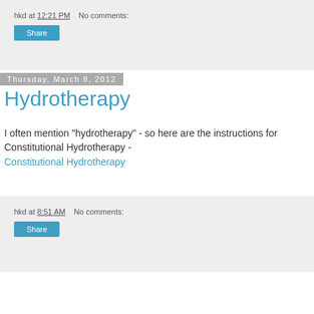hkd at 12:21 PM    No comments:
Share
Thursday, March 8, 2012
Hydrotherapy
I often mention "hydrotherapy" - so here are the instructions for Constitutional Hydrotherapy - Constitutional Hydrotherapy
hkd at 8:51 AM    No comments:
Share